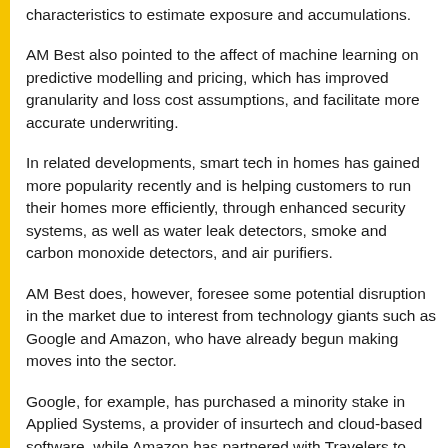characteristics to estimate exposure and accumulations.
AM Best also pointed to the affect of machine learning on predictive modelling and pricing, which has improved granularity and loss cost assumptions, and facilitate more accurate underwriting.
In related developments, smart tech in homes has gained more popularity recently and is helping customers to run their homes more efficiently, through enhanced security systems, as well as water leak detectors, smoke and carbon monoxide detectors, and air purifiers.
AM Best does, however, foresee some potential disruption in the market due to interest from technology giants such as Google and Amazon, who have already begun making moves into the sector.
Google, for example, has purchased a minority stake in Applied Systems, a provider of insurtech and cloud-based software, while Amazon has partnered with Travelers to offer smart home kits, insurance quotes, and risk management information in some US states.